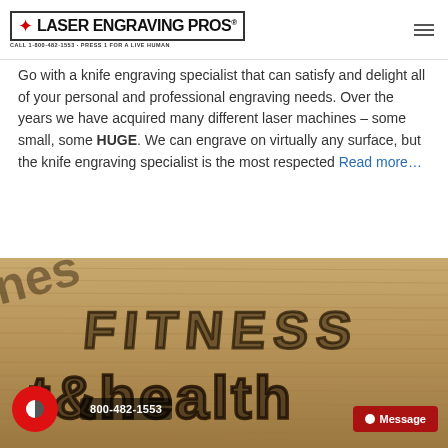LASER ENGRAVING PROS® CALL 1-800-482-1553 - PRESS 1 FOR A LIVE HUMAN
Go with a knife engraving specialist that can satisfy and delight all of your personal and professional engraving needs. Over the years we have acquired many different laser machines – some small, some HUGE. We can engrave on virtually any surface, but the knife engraving specialist is the most respected Read more…
[Figure (photo): Close-up photo of a wood-engraved sign showing the words 'FITNESS' and 'health' laser engraved into a wooden surface, with dark burned lettering on light wood grain.]